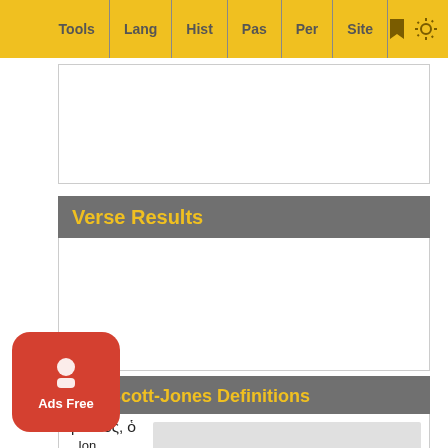Tools | Lang | Hist | Pas | Per | Site
Verse Results
dell-Scott-Jones Definitions
μαστός, ὁ
, Ion
μαα